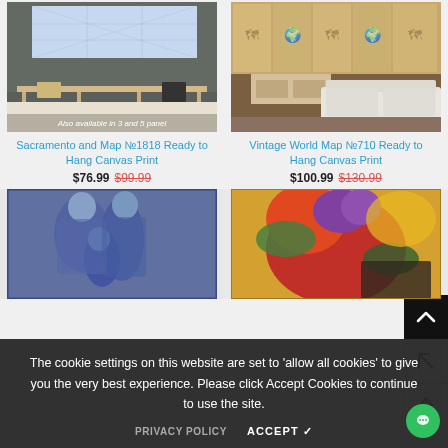[Figure (photo): Product photo: Sacramento Map canvas print displayed on wall above dining table with chairs in modern room setting. Text overlay at bottom: 'Also available in 3 and 5 panel']
Sacramento and Map №1818 Ready to Hang Canvas Print
$76.99  $99.99
[Figure (photo): Product photo: Vintage World Map canvas print displayed on wall above white sofa in living room setting]
Vintage World Map №710 Ready to Hang Canvas Print
$100.99  $130.99
[Figure (photo): Product photo: Picasso-style blue painting of figures (women and child), canvas art print]
[Figure (photo): Product photo: Colorful floral/abstract canvas art print with vibrant reds, yellows and purples]
The cookie settings on this website are set to 'allow all cookies' to give you the very best experience. Please click Accept Cookies to continue to use the site.
PRIVACY POLICY
ACCEPT ✓